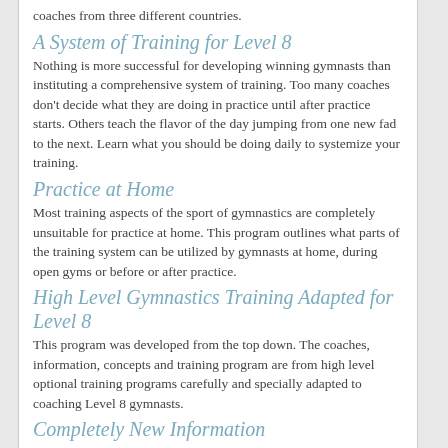coaches from three different countries.
A System of Training for Level 8
Nothing is more successful for developing winning gymnasts than instituting a comprehensive system of training. Too many coaches don't decide what they are doing in practice until after practice starts. Others teach the flavor of the day jumping from one new fad to the next. Learn what you should be doing daily to systemize your training.
Practice at Home
Most training aspects of the sport of gymnastics are completely unsuitable for practice at home. This program outlines what parts of the training system can be utilized by gymnasts at home, during open gyms or before or after practice.
High Level Gymnastics Training Adapted for Level 8
This program was developed from the top down. The coaches, information, concepts and training program are from high level optional training programs carefully and specially adapted to coaching Level 8 gymnasts.
Completely New Information
This program will give you advanced methods of training that even your coach may not yet have thought of. This gives you an advantage over every other gymnast in your gym and